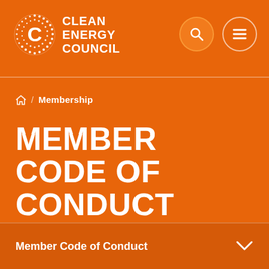[Figure (logo): Clean Energy Council logo — white dotted C circle with CLEAN ENERGY COUNCIL text in white]
Clean Energy Council — navigation bar with search and menu icons
⌂ / Membership
MEMBER CODE OF CONDUCT
Member Code of Conduct ∨